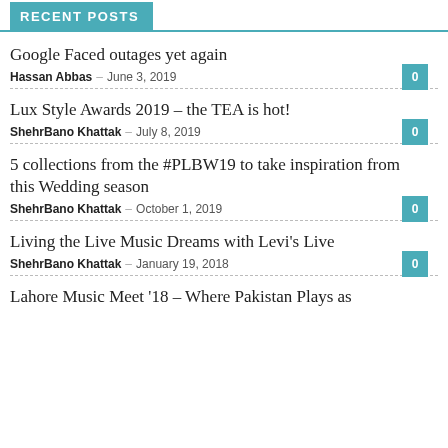RECENT POSTS
Google Faced outages yet again
Hassan Abbas – June 3, 2019   0
Lux Style Awards 2019 – the TEA is hot!
ShehrBano Khattak – July 8, 2019   0
5 collections from the #PLBW19 to take inspiration from this Wedding season
ShehrBano Khattak – October 1, 2019   0
Living the Live Music Dreams with Levi's Live
ShehrBano Khattak – January 19, 2018   0
Lahore Music Meet '18 – Where Pakistan Plays as